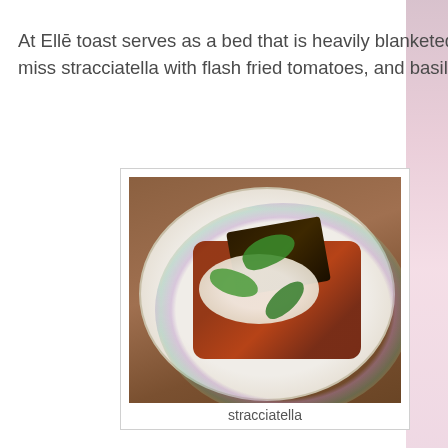At Ellē toast serves as a bed that is heavily blanketed by a medley of ingredients. Don't miss stracciatella with flash fried tomatoes, and basil. It's rustic and hearty.
[Figure (photo): A food photo showing stracciatella (fresh cheese) with flash fried tomatoes and basil leaves on dark toast, served on a decorative floral-patterned plate on a wooden table.]
stracciatella